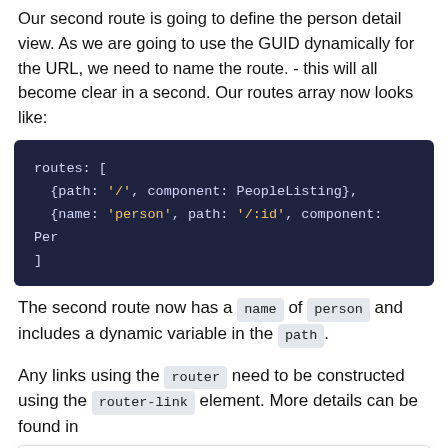Our second route is going to define the person detail view. As we are going to use the GUID dynamically for the URL, we need to name the route. - this will all become clear in a second. Our routes array now looks like:
[Figure (screenshot): Dark blue code block showing routes array with two route objects: {path: '/', component: PeopleListing} and {name: 'person', path: '/:id', component: Per}]
The second route now has a name of person and includes a dynamic variable in the path.
Any links using the router need to be constructed using the router-link element. More details can be found in
This site uses cookies. By continuing to browse and use the site you are agreeing to our use of cookies. To find out more please see our privacy statement.
include the following: